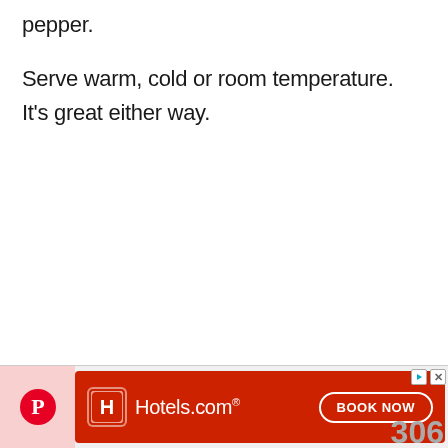pepper.
Serve warm, cold or room temperature. It’s great either way.
[Figure (other): Hotels.com advertisement banner with red background, Hotels.com logo with H icon, and BOOK NOW button with rounded border]